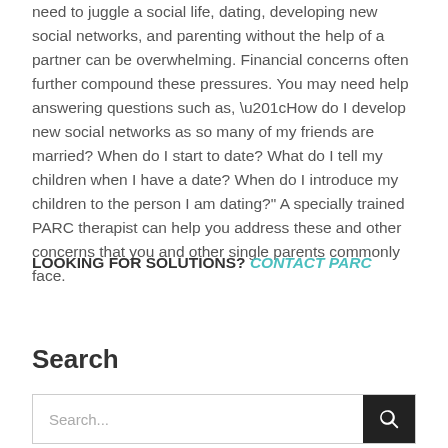need to juggle a social life, dating, developing new social networks, and parenting without the help of a partner can be overwhelming. Financial concerns often further compound these pressures. You may need help answering questions such as, “How do I develop new social networks as so many of my friends are married? When do I start to date? What do I tell my children when I have a date? When do I introduce my children to the person I am dating?” A specially trained PARC therapist can help you address these and other concerns that you and other single parents commonly face.
LOOKING FOR SOLUTIONS? CONTACT PARC
Search